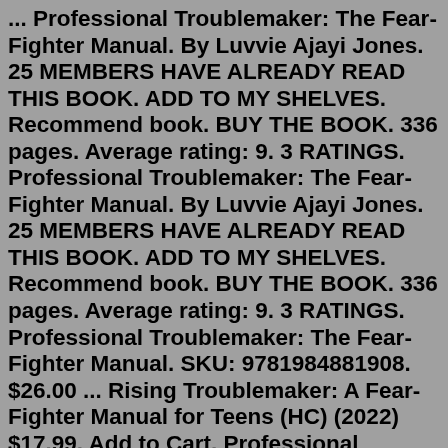... Professional Troublemaker: The Fear-Fighter Manual. By Luvvie Ajayi Jones. 25 MEMBERS HAVE ALREADY READ THIS BOOK. ADD TO MY SHELVES. Recommend book. BUY THE BOOK. 336 pages. Average rating: 9. 3 RATINGS. Professional Troublemaker: The Fear-Fighter Manual. By Luvvie Ajayi Jones. 25 MEMBERS HAVE ALREADY READ THIS BOOK. ADD TO MY SHELVES. Recommend book. BUY THE BOOK. 336 pages. Average rating: 9. 3 RATINGS. Professional Troublemaker: The Fear-Fighter Manual. SKU: 9781984881908. $26.00 ... Rising Troublemaker: A Fear-Fighter Manual for Teens (HC) (2022) $17.99. Add to Cart. Professional Troublemaker: The Fear-Fighter Manual Luvvie Ajayi Jones INSTANT NEW YORK TIMES BESTSELLERFrom the New York Times bestselling author of I'm Judging You, a hilarious and transformational book about how to tackle fear—that everlasting hater—and audaciously step into lives, careers, and legacies that go beyond even our wildest ... But even she's been challenged by the enemy of...